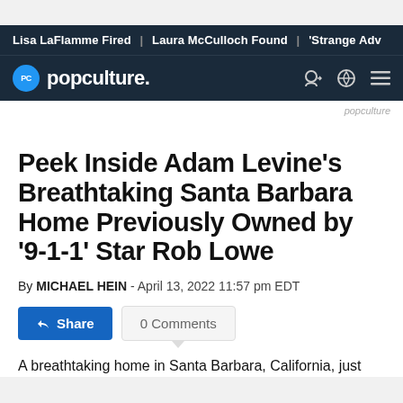Lisa LaFlamme Fired | Laura McCulloch Found | 'Strange Adv
[Figure (logo): popculture. logo with blue circle PC icon on dark navy background with navigation icons]
popculture
Peek Inside Adam Levine's Breathtaking Santa Barbara Home Previously Owned by '9-1-1' Star Rob Lowe
By MICHAEL HEIN - April 13, 2022 11:57 pm EDT
Share  0 Comments
A breathtaking home in Santa Barbara, California, just